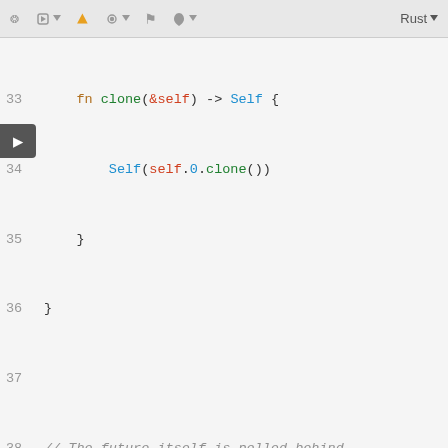[Figure (screenshot): IDE toolbar with icons for puzzle piece, 3D box with dropdown, warning triangle (orange), settings gear with dropdown, flag, leaf with dropdown, and Rust language selector]
Code viewer showing Rust source code lines 33-51 with syntax highlighting. Lines shown: fn clone(&self) -> Self {, Self(self.0.clone()), }, }, (blank), // The future itself is polled behind, // when `Shared` is moved., impl<Fut: Future> Unpin for Shared<Fu, (blank), impl<Fut: Future> fmt::Debug for Shar, fn fmt(&self, f: &mut fmt::Format, f.debug_struct("Shared"), .field("inner", &self.inn, .field("waker_key", &self, .finish(), }, }, (blank), impl<Fut: Future> fmt::Debug for Inne